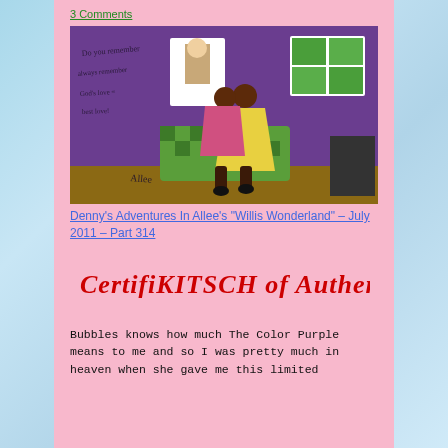3 comments
[Figure (photo): A folk art painting on a purple wall background showing two women dancing or embracing, one in a yellow dress and one in pink. There is a framed picture of Jesus on the wall, a window with green plants, and a green checked couch. Handwritten text appears on the purple wall. The painting is signed.]
Denny’s Adventures In Allee’s “Willis Wonderland” – July 2011 – Part 314
[Figure (illustration): Handwritten/stylized red text reading 'CertifiKITSCH of AuthenKitschity']
Bubbles knows how much The Color Purple means to me and so I was pretty much in heaven when she gave me this limited